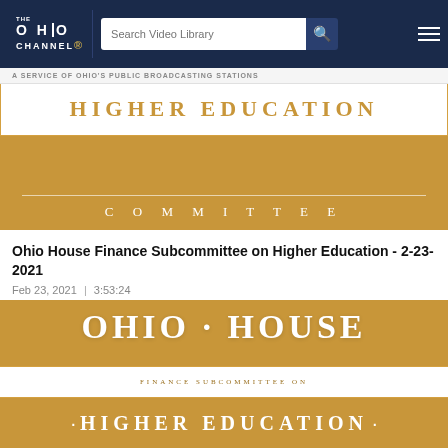THE OHIO CHANNEL · Search Video Library · A SERVICE OF OHIO'S PUBLIC BROADCASTING STATIONS
[Figure (screenshot): Ohio House Finance Subcommittee on Higher Education video thumbnail - gold/amber background with 'HIGHER EDUCATION' text in serif font and 'COMMITTEE' letters spaced below on gold background]
Ohio House Finance Subcommittee on Higher Education - 2-23-2021
Feb 23, 2021 | 3:53:24
[Figure (screenshot): Ohio House Finance Subcommittee on Higher Education second video thumbnail - gold/amber background with 'OHIO HOUSE' large serif text, white band with 'FINANCE SUBCOMMITTEE ON', and 'HIGHER EDUCATION' text below]